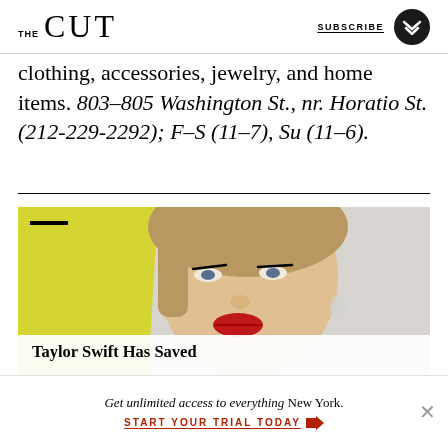THE CUT | SUBSCRIBE
clothing, accessories, jewelry, and home items. 803–805 Washington St., nr. Horatio St. (212-229-2292); F–S (11–7), Su (11–6).
[Figure (photo): Photo of Taylor Swift with blonde hair, red lipstick, yellow garment, looking at camera]
Taylor Swift Has Saved
Get unlimited access to everything New York.
START YOUR TRIAL TODAY